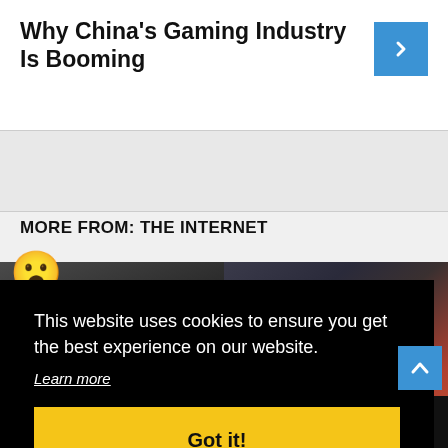Why China’s Gaming Industry Is Booming
[Figure (illustration): Gray advertisement/content placeholder banner]
MORE FROM: THE INTERNET
[Figure (photo): Two side-by-side photos — left shows a person at what appears to be an awards ceremony, right shows a figure in formal wear bowing or being struck]
This website uses cookies to ensure you get the best experience on our website.
Learn more
Got it!
How Filial Piety Drove Chinese